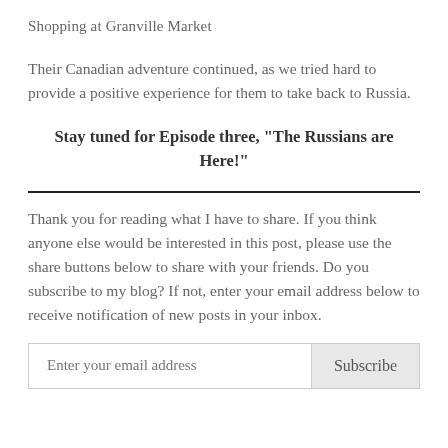Shopping at Granville Market
Their Canadian adventure continued, as we tried hard to provide a positive experience for them to take back to Russia.
Stay tuned for Episode three, “The Russians are Here!”
Thank you for reading what I have to share. If you think anyone else would be interested in this post, please use the share buttons below to share with your friends. Do you subscribe to my blog? If not, enter your email address below to receive notification of new posts in your inbox.